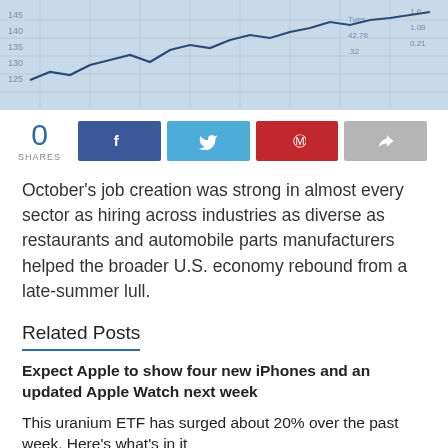[Figure (photo): Close-up of financial newspaper/stock table printout with line chart overlay, blue-tinted]
0 SHARES [Facebook share button] [Twitter share button] [Pinterest share button] [Share button]
October’s job creation was strong in almost every sector as hiring across industries as diverse as restaurants and automobile parts manufacturers helped the broader U.S. economy rebound from a late-summer lull.
Related Posts
Expect Apple to show four new iPhones and an updated Apple Watch next week
This uranium ETF has surged about 20% over the past week. Here’s what’s in it